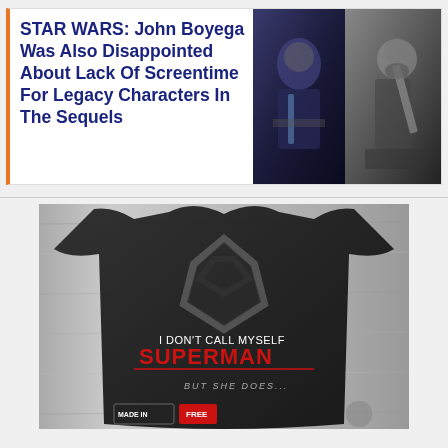STAR WARS: John Boyega Was Also Disappointed About Lack Of Screentime For Legacy Characters In The Sequels
[Figure (photo): Two photos side by side: left shows a close-up of a person in dark clothing, right shows a bearded man holding a weapon in a rocky setting]
[Figure (photo): A black t-shirt laid flat showing a Superman logo graphic with text: I DON'T CALL MYSELF SUPERMAN BUT SHE DOES... with MADE IN and FREE badges at the bottom]